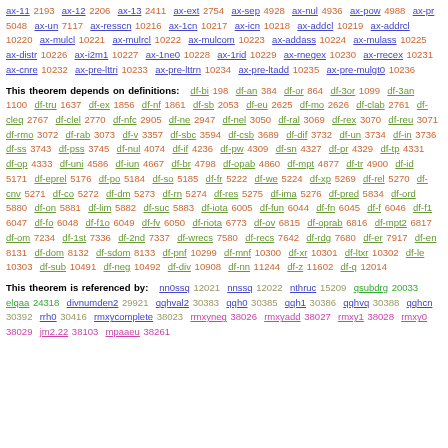ax-11 2193 ax-12 2206 ax-13 2411 ax-ext 2754 ax-sep 4928 ax-nul 4936 ax-pow 4988 ax-pr 5048 ax-un 7117 ax-resscn 10216 ax-1cn 10217 ax-icn 10218 ax-addcl 10219 ax-addrcl 10220 ax-mulcl 10221 ax-mulrcl 10222 ax-mulcom 10223 ax-addass 10224 ax-mulass 10225 ax-distr 10226 ax-i2m1 10227 ax-1ne0 10228 ax-1rid 10229 ax-rnegex 10230 ax-rrecex 10231 ax-cnre 10232 ax-pre-lttri 10233 ax-pre-lttrn 10234 ax-pre-ltadd 10235 ax-pre-mulgt0 10236
This theorem depends on definitions: df-bi 198 df-an 384 df-or 864 df-3or 1099 df-3an 1100 df-tru 1637 df-ex 1856 df-nf 1861 df-sb 2053 df-eu 2625 df-mo 2626 df-clab 2761 df-cleq 2767 df-clel 2770 df-nfc 2905 df-ne 2947 df-nel 3050 df-ral 3069 df-rex 3070 df-reu 3071 df-rmo 3072 df-rab 3073 df-v 3357 df-sbc 3594 df-csb 3689 df-dif 3732 df-un 3734 df-in 3736 df-ss 3743 df-pss 3745 df-nul 4074 df-if 4236 df-pw 4309 df-sn 4327 df-pr 4329 df-tp 4331 df-op 4333 df-uni 4586 df-iun 4667 df-br 4798 df-opab 4860 df-mpt 4877 df-tr 4900 df-id 5171 df-eprel 5176 df-po 5184 df-so 5185 df-fr 5222 df-we 5224 df-xp 5269 df-rel 5270 df-cnv 5271 df-co 5272 df-dm 5273 df-rn 5274 df-res 5275 df-ima 5276 df-pred 5834 df-ord 5880 df-on 5881 df-lim 5882 df-suc 5883 df-iota 6005 df-fun 6044 df-fn 6045 df-f 6046 df-f1 6047 df-fo 6048 df-f1o 6049 df-fv 6050 df-riota 6773 df-ov 6815 df-oprab 6816 df-mpt2 6817 df-om 7234 df-1st 7336 df-2nd 7337 df-wrecs 7580 df-recs 7642 df-rdg 7680 df-er 7917 df-en 8131 df-dom 8132 df-sdom 8133 df-pnf 10299 df-mnf 10300 df-xr 10301 df-ltxr 10302 df-le 10303 df-sub 10491 df-neg 10492 df-div 10908 df-nn 11244 df-z 11602 df-q 12014
This theorem is referenced by: nn0ssq 12021 nnssq 12022 nthruc 15209 qsubdrg 20033 elqaa 24318 divnumden2 29921 qqhval2 30383 qqh0 30385 qqh1 30386 qqhvq 30388 qqhcn 30392 rrh0 30416 rmxycomplete 38023 rmxyneg 38026 rmxyadd 38027 rmxy1 38028 rmxy0 38029 jm2.22 38103 mpaaeu 38261